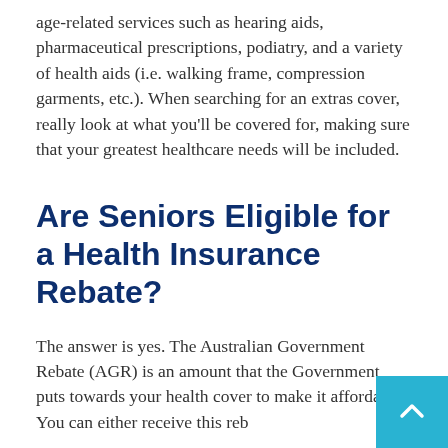age-related services such as hearing aids, pharmaceutical prescriptions, podiatry, and a variety of health aids (i.e. walking frame, compression garments, etc.). When searching for an extras cover, really look at what you'll be covered for, making sure that your greatest healthcare needs will be included.
Are Seniors Eligible for a Health Insurance Rebate?
The answer is yes. The Australian Government Rebate (AGR) is an amount that the Government puts towards your health cover to make it affordable. You can either receive this reb... a